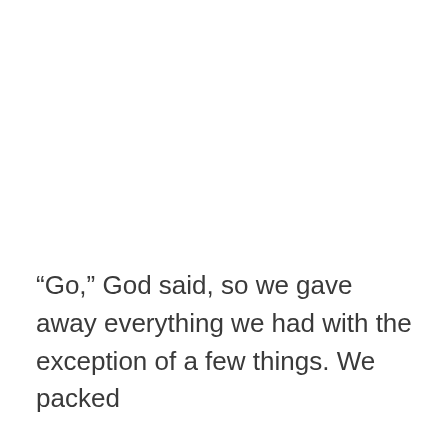“Go,” God said, so we gave away everything we had with the exception of a few things. We packed